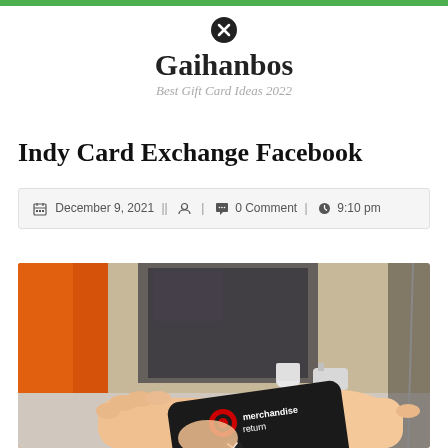Gaihanbos — Best Gift Card Ideas 2022
Indy Card Exchange Facebook
December 9, 2021 || 🔒 | 💬 0 Comment | 🕐 9:10 pm
[Figure (photo): Hands holding a black Target merchandise return card at a store checkout counter with a plexiglass barrier and equipment visible in the background.]